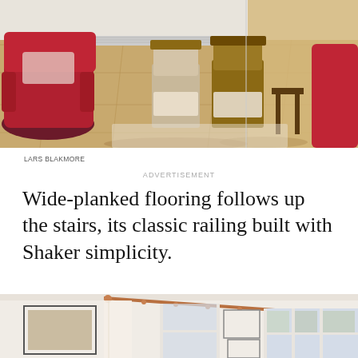[Figure (photo): Interior living room photo showing hardwood floors, red velvet armchair on the left, antique wooden chairs with cushions in the center, and red armchair on the right against white walls with a baseboard heater.]
LARS BLAKMORE
ADVERTISEMENT
Wide-planked flooring follows up the stairs, its classic railing built with Shaker simplicity.
[Figure (photo): Bright bedroom interior with cream white walls, large windows with white frames and curtains on copper rods, framed artwork on the walls, and a floor lamp.]